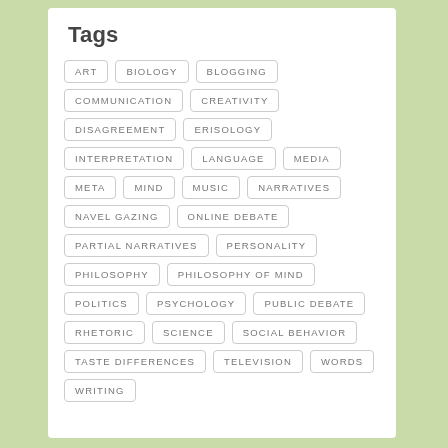Tags
ART
BIOLOGY
BLOGGING
COMMUNICATION
CREATIVITY
DISAGREEMENT
ERISOLOGY
INTERPRETATION
LANGUAGE
MEDIA
META
MIND
MUSIC
NARRATIVES
NAVEL GAZING
ONLINE DEBATE
PARTIAL NARRATIVES
PERSONALITY
PHILOSOPHY
PHILOSOPHY OF MIND
POLITICS
PSYCHOLOGY
PUBLIC DEBATE
RHETORIC
SCIENCE
SOCIAL BEHAVIOR
TASTE DIFFERENCES
TELEVISION
WORDS
WRITING